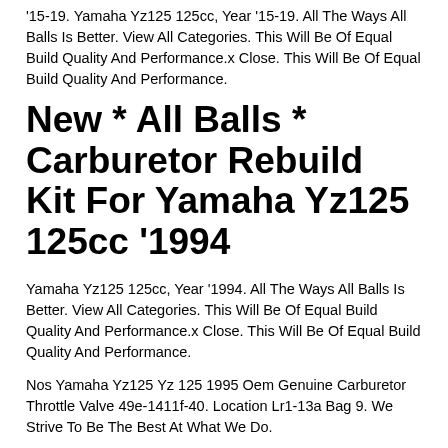'15-19. Yamaha Yz125 125cc, Year '15-19. All The Ways All Balls Is Better. View All Categories. This Will Be Of Equal Build Quality And Performance.x Close. This Will Be Of Equal Build Quality And Performance.
New * All Balls * Carburetor Rebuild Kit For Yamaha Yz125 125cc '1994
Yamaha Yz125 125cc, Year '1994. All The Ways All Balls Is Better. View All Categories. This Will Be Of Equal Build Quality And Performance.x Close. This Will Be Of Equal Build Quality And Performance.
Nos Yamaha Yz125 Yz 125 1995 Oem Genuine Carburetor Throttle Valve 49e-1411f-40. Location Lr1-13a Bag 9. We Strive To Be The Best At What We Do.
For Vm24 Carburetor Yamaha Rt100 Yz85 Yz8 Rd125 Dt125 Dt175 Sr125